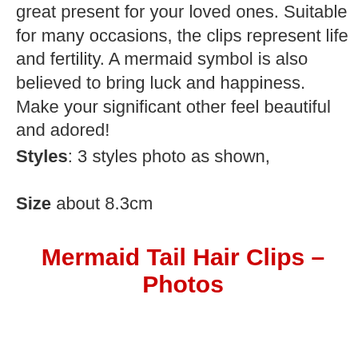great present for your loved ones. Suitable for many occasions, the clips represent life and fertility. A mermaid symbol is also believed to bring luck and happiness. Make your significant other feel beautiful and adored!
Styles: 3 styles photo as shown,
Size about 8.3cm
Mermaid Tail Hair Clips – Photos